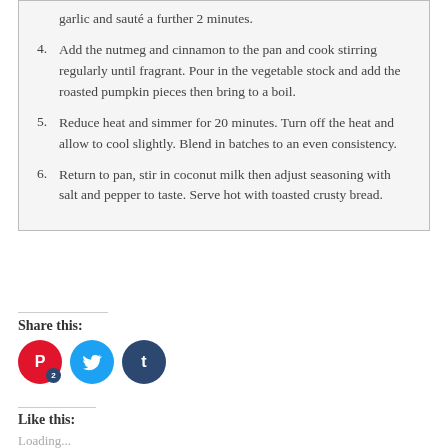4. Add the nutmeg and cinnamon to the pan and cook stirring regularly until fragrant. Pour in the vegetable stock and add the roasted pumpkin pieces then bring to a boil.
5. Reduce heat and simmer for 20 minutes. Turn off the heat and allow to cool slightly. Blend in batches to an even consistency.
6. Return to pan, stir in coconut milk then adjust seasoning with salt and pepper to taste. Serve hot with toasted crusty bread.
Share this:
[Figure (infographic): Three social media share buttons: Pinterest (red circle with P icon and badge showing 2), Twitter (light blue circle with bird icon), Tumblr (dark blue circle with t icon)]
Like this:
Loading...